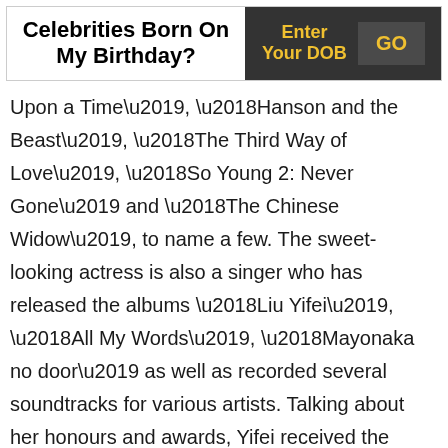Celebrities Born On My Birthday?
Enter Your DOB
GO
Upon a Time', 'Hanson and the Beast', 'The Third Way of Love', 'So Young 2: Never Gone' and 'The Chinese Widow', to name a few. The sweet-looking actress is also a singer who has released the albums 'Liu Yifei', 'All My Words', 'Mayonaka no door' as well as recorded several soundtracks for various artists. Talking about her honours and awards, Yifei received the 'Most Charismatic Actress' award at the 22nd Hong Kong Society of Cinematographers Award ceremony. She also received the 'Best Actress' award at 5th Macau International Movie Festival for her work in 'The